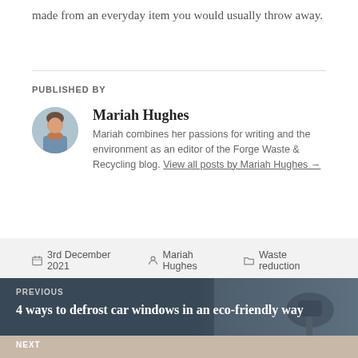made from an everyday item you would usually throw away.
PUBLISHED BY
Mariah Hughes
Mariah combines her passions for writing and the environment as an editor of the Forge Waste & Recycling blog. View all posts by Mariah Hughes →
3rd December 2021  Mariah Hughes  Waste reduction
PREVIOUS
4 ways to defrost car windows in an eco-friendly way
NEXT